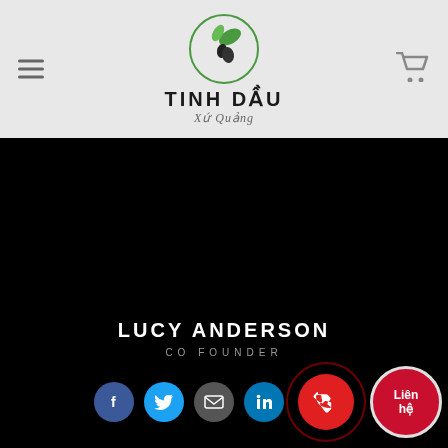[Figure (logo): Tinh Dau logo with circular green leaf/plant emblem above the text TINH DẦU with italic subtitle]
LUCY ANDERSON
CO FOUNDER